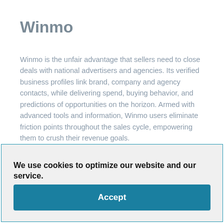Winmo
Winmo is the unfair advantage that sellers need to close deals with national advertisers and agencies. Its verified business profiles link brand, company and agency contacts, while delivering spend, buying behavior, and predictions of opportunities on the horizon. Armed with advanced tools and information, Winmo users eliminate friction points throughout the sales cycle, empowering them to crush their revenue goals.
We use cookies to optimize our website and our service. Cookie Policy - Privacy Statement Accept